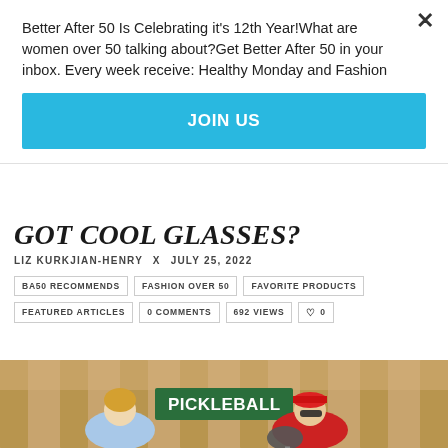Better After 50 Is Celebrating it's 12th Year!What are women over 50 talking about?Get Better After 50 in your inbox. Every week receive: Healthy Monday and Fashion
JOIN US
GOT COOL GLASSES?
LIZ KURKJIAN-HENRY  x  JULY 25, 2022
BA50 RECOMMENDS
FASHION OVER 50
FAVORITE PRODUCTS
FEATURED ARTICLES
0 COMMENTS
692 VIEWS
♡ 0
[Figure (photo): Two people standing in front of a wooden lattice fence, smiling, one holding a pickleball paddle. A green PICKLEBALL sign is visible.]